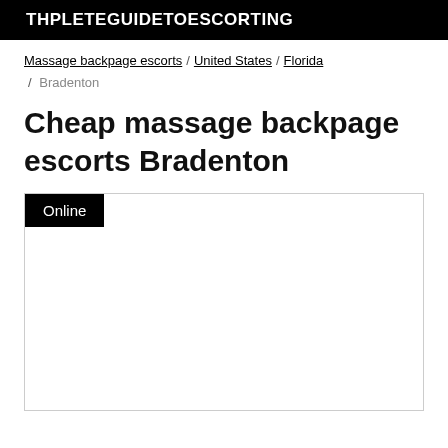THPLETEGUIDETOESCORTING
Massage backpage escorts / United States / Florida / Bradenton
Cheap massage backpage escorts Bradenton
[Figure (other): Listing card with Online badge and empty white content area]